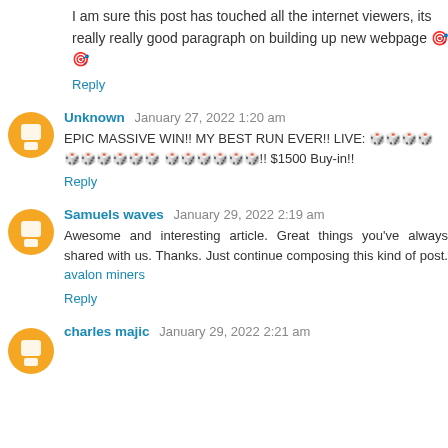I am sure this post has touched all the internet viewers, its really really good paragraph on building up new webpage 🎯🎯
Reply
Unknown  January 27, 2022 1:20 am
EPIC MASSIVE WIN!! MY BEST RUN EVER!! LIVE: 🎲🎲🎲🎲 🎲🎲🎲🎲🎲🎲 🎲🎲🎲🎲🎲🎲!! $1500 Buy-in!!
Reply
Samuels waves  January 29, 2022 2:19 am
Awesome and interesting article. Great things you've always shared with us. Thanks. Just continue composing this kind of post. avalon miners
Reply
charles majic  January 29, 2022 2:21 am